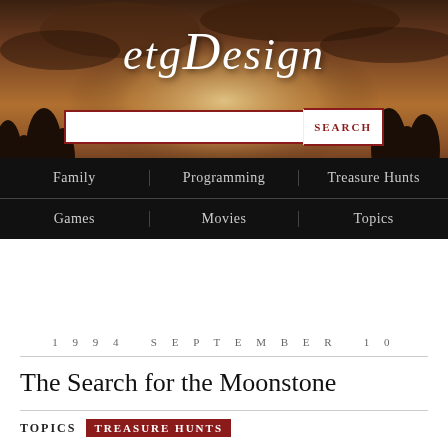[Figure (illustration): Sepia-toned header image with misty sky, glowing light source, and dark tree silhouettes. etgDesign logo in white italic script overlaid. Search input box with red border and SEARCH button below logo.]
Family | Programming | Treasure Hunts
Games | Movies | Topics
1994 SEPTEMBER 10
The Search for the Moonstone
TOPICS  TREASURE HUNTS